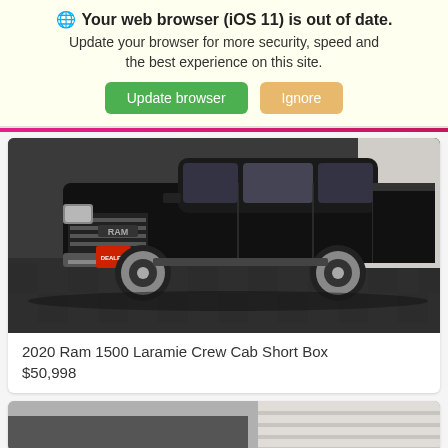🌐 Your web browser (iOS 11) is out of date. Update your browser for more security, speed and the best experience on this site.
Update browser | Ignore
[Figure (photo): Black 2020 Ram 1500 Laramie Crew Cab Short Box truck parked on a checkered garage floor, front three-quarter view]
2020 Ram 1500 Laramie Crew Cab Short Box
$50,998
[Figure (photo): Partial view of a second vehicle listing, bottom of page cut off]